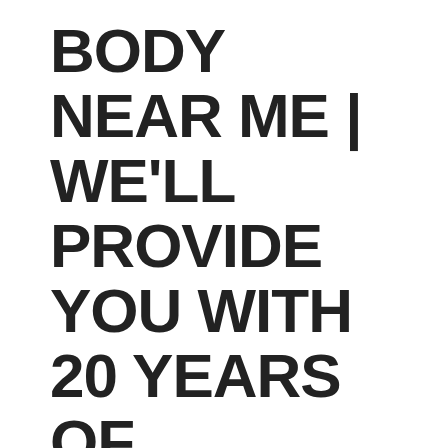BODY NEAR ME | WE'LL PROVIDE YOU WITH 20 YEARS OF EXPERTISE
by admin  |  Jun 5, 2019  |  Uncategorized
Best Auto Body Near Me | Get An Amazing Touch Up Job From Us